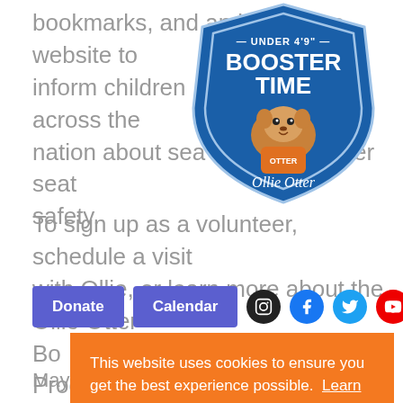bookmarks, and an interactive website to inform children across the nation about sea... oster seat safety.
[Figure (logo): Booster Time Ollie Otter shield-shaped logo with cartoon otter mascot, text reads UNDER 4'9" BOOSTER TIME Ollie Otter with stars]
To sign up as a volunteer, schedule a visit with Ollie, or learn more about the Ollie Otter Booster... about the Program, visit...
May...
+ 2...
+ 4...
[Figure (screenshot): Website navigation bar with Donate and Calendar buttons in purple, and social media icons (Instagram, Facebook, Twitter, YouTube) in dark circles]
This website uses cookies to ensure you get the best experience possible.  Learn more
Got it
+ Add to Google Calendar    + Add to iCalendar